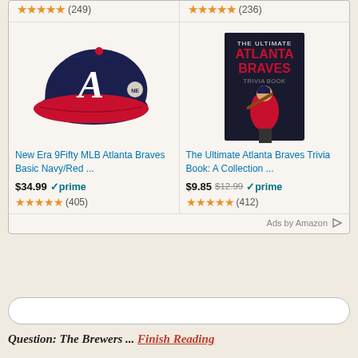[Figure (screenshot): Amazon product ad widget showing two products in top row with star ratings (249) and (236), and two products in bottom row: New Era 9Fifty MLB Atlanta Braves Basic Navy/Red hat at $34.99 prime with 405 reviews, and The Ultimate Atlanta Braves Trivia Book at $9.85 (was $12.99) prime with 412 reviews. Bottom has search bar and article snippet.]
(249)
(236)
New Era 9Fifty MLB Atlanta Braves Basic Navy/Red ...
$34.99 prime (405)
The Ultimate Atlanta Braves Trivia Book: A Collection ...
$9.85 $12.99 prime (412)
Ads by Amazon
Question: The Brewers ... Finish Reading
Alex Remington (Another Alex R.) / September 10, 2012 / Categories Game Threads 2012 / 121 Comments